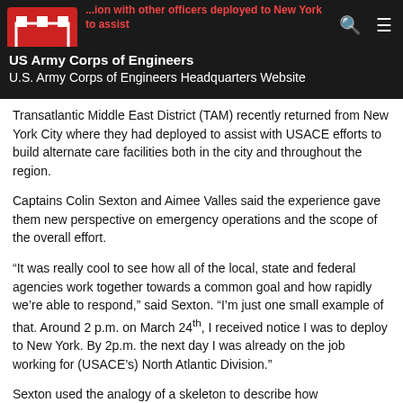US Army Corps of Engineers
U.S. Army Corps of Engineers Headquarters Website
Transatlantic Middle East District (TAM) recently returned from New York City where they had deployed to assist with USACE efforts to build alternate care facilities both in the city and throughout the region.
Captains Colin Sexton and Aimee Valles said the experience gave them new perspective on emergency operations and the scope of the overall effort.
“It was really cool to see how all of the local, state and federal agencies work together towards a common goal and how rapidly we’re able to respond,” said Sexton. “I’m just one small example of that. Around 2 p.m. on March 24th, I received notice I was to deploy to New York. By 2p.m. the next day I was already on the job working for (USACE’s) North Atlantic Division.”
Sexton used the analogy of a skeleton to describe how…